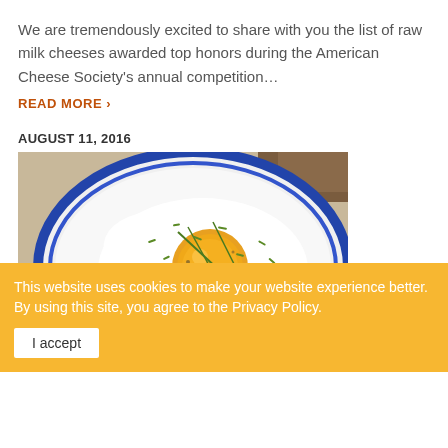We are tremendously excited to share with you the list of raw milk cheeses awarded top honors during the American Cheese Society's annual competition…
READ MORE ›
AUGUST 11, 2016
[Figure (photo): A fried egg on toast with mushrooms and chopped chives on a white plate with blue rim]
This website uses cookies to make your website experience better. By using this site, you agree to the Privacy Policy.
I accept